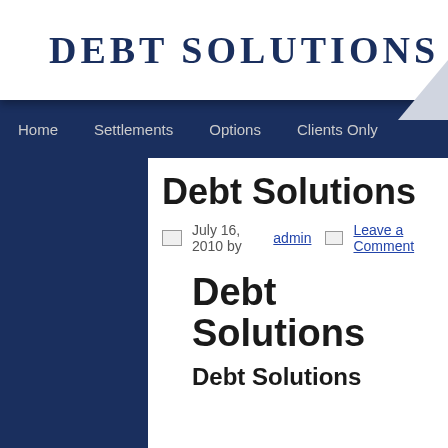DEBT SOLUTIONS
Home    Settlements    Options    Clients Only
Debt Solutions
July 16, 2010 by admin  Leave a Comment
Debt Solutions
Debt Solutions